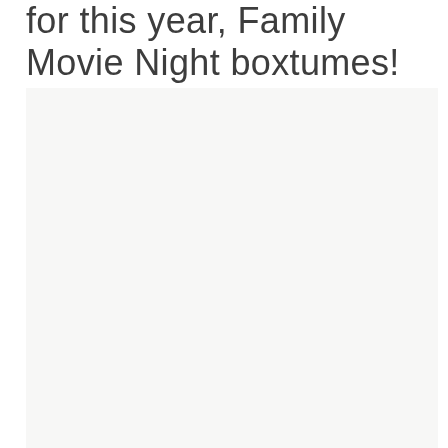for this year, Family Movie Night boxtumes!
[Figure (photo): Large light gray/off-white rectangular image placeholder area occupying the lower three-quarters of the page]